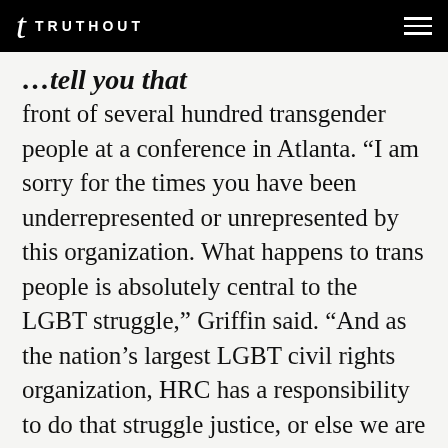TRUTHOUT
…tell you that front of several hundred transgender people at a conference in Atlanta. “I am sorry for the times you have been underrepresented or unrepresented by this organization. What happens to trans people is absolutely central to the LGBT struggle,” Griffin said. “And as the nation’s largest LGBT civil rights organization, HRC has a responsibility to do that struggle justice, or else we are failing at our fundamental mission.”